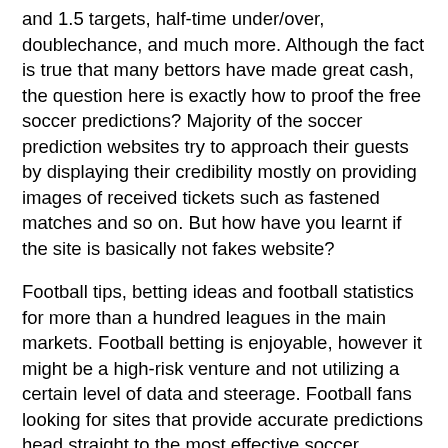and 1.5 targets, half-time under/over, doublechance, and much more. Although the fact is true that many bettors have made great cash, the question here is exactly how to proof the free soccer predictions? Majority of the soccer prediction websites try to approach their guests by displaying their credibility mostly on providing images of received tickets such as fastened matches and so on. But how have you learnt if the site is basically not fakes website?
Football tips, betting ideas and football statistics for more than a hundred leagues in the main markets. Football betting is enjoyable, however it might be a high-risk venture and not utilizing a certain level of data and steerage. Football fans looking for sites that provide accurate predictions head straight to the most effective soccer prediction website on the planet, footballprediction365.com.
We go through so much and considers many factors earlier than making our predictions, we get our accurate prediction